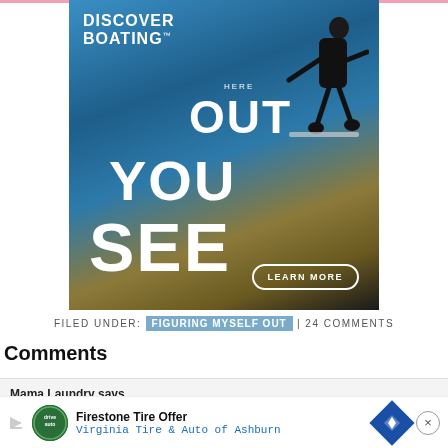[Figure (illustration): Discover Boating advertisement with surfer riding a wave, featuring text 'HERE OUT YOU SEE' and a 'LEARN MORE' button]
FILED UNDER: FIGURING MYSELF OUT | 24 COMMENTS
Comments
Mama Laundry says
January ...
Ok Th...
[Figure (illustration): Firestone Tire Offer bottom advertisement - Virginia Tire & Auto of Ashburn with navigation diamond icon and close button]